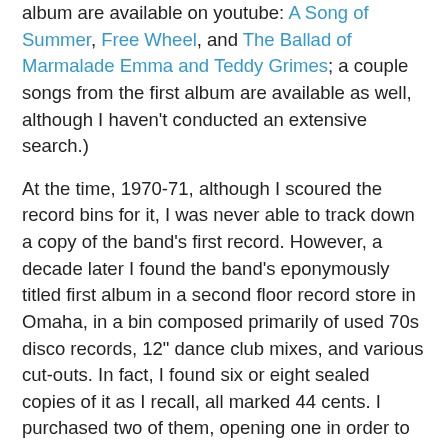album are available on youtube: A Song of Summer, Free Wheel, and The Ballad of Marmalade Emma and Teddy Grimes; a couple songs from the first album are available as well, although I haven't conducted an extensive search.)
At the time, 1970-71, although I scoured the record bins for it, I was never able to track down a copy of the band's first record. However, a decade later I found the band's eponymously titled first album in a second floor record store in Omaha, in a bin composed primarily of used 70s disco records, 12" dance club mixes, and various cut-outs. In fact, I found six or eight sealed copies of it as I recall, all marked 44 cents. I purchased two of them, opening one in order to play it and leaving the other sealed (to this day). At the same time, I also found a sealed copy (to this day) of Through A Window for the same price. For that little amount of money, why not pick up a second copy?
I don't believe I've ever encountered a band's records so widely available in still-sealed form, a phenomenon made even more remarkable by the fact that so many such copies are for sale on eBay, sealed, 40 years later. I can therefore